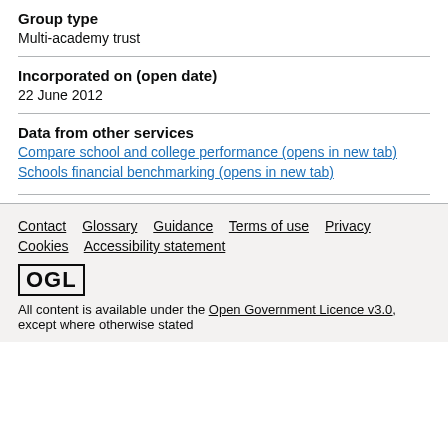Group type
Multi-academy trust
Incorporated on (open date)
22 June 2012
Data from other services
Compare school and college performance (opens in new tab)
Schools financial benchmarking (opens in new tab)
Contact  Glossary  Guidance  Terms of use  Privacy  Cookies  Accessibility statement
OGL
All content is available under the Open Government Licence v3.0, except where otherwise stated